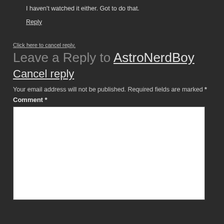I haven't watched it either. Got to do that.
Reply
Click here to cancel reply.
Leave a Reply to AstroNerdBoy Cancel reply
Your email address will not be published. Required fields are marked *
Comment *
[Figure (other): Empty comment text area input box]